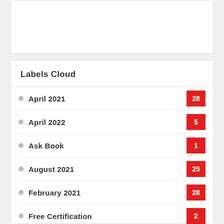[Figure (other): White card area at top, appears to be a content placeholder]
Labels Cloud
April 2021 28
April 2022 5
Ask Book 1
August 2021 25
February 2021 28
Free Certification 2
Free Download 1
Free Stuff 6
ihtreek tech 2